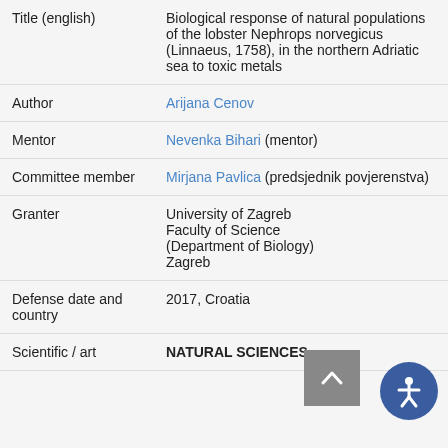| Field | Value |
| --- | --- |
| Title (english) | Biological response of natural populations of the lobster Nephrops norvegicus (Linnaeus, 1758), in the northern Adriatic sea to toxic metals |
| Author | Arijana Cenov |
| Mentor | Nevenka Bihari (mentor) |
| Committee member | Mirjana Pavlica (predsjednik povjerenstva) |
| Granter | University of Zagreb
Faculty of Science
(Department of Biology)
Zagreb |
| Defense date and country | 2017, Croatia |
| Scientific / art | NATURAL SCIENCES |